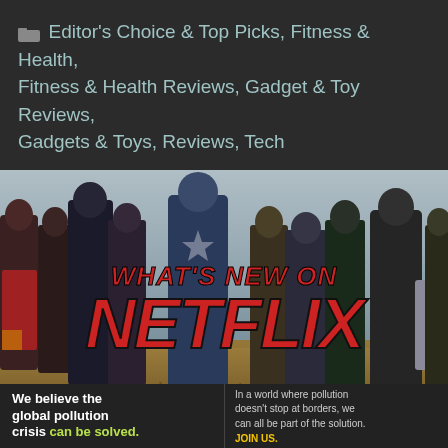Editor's Choice & Top Picks, Fitness & Health, Fitness & Health Reviews, Gadget & Toy Reviews, Gadgets & Toys, Reviews, Tech
[Figure (photo): Group of Marvel superhero characters standing in a field with text overlay reading 'WHAT'S NEW ON NETFLIX' in large red letters]
[Figure (infographic): Advertisement banner for Pure Earth organization with text 'We believe the global pollution crisis can be solved.' and 'In a world where pollution doesn't stop at borders, we can all be part of the solution. JOIN US.' with Pure Earth logo]